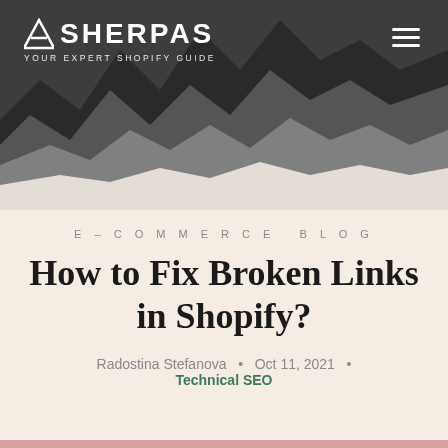[Figure (illustration): Asherpas website header with mountain silhouette graphic in dark charcoal and grey tones. Logo reads 'ASHERPAS YOUR EXPERT SHOPIFY GUIDE' in white. Hamburger menu icon in top right.]
E-COMMERCE BLOG
How to Fix Broken Links in Shopify?
Radostina Stefanova  •  Oct 11, 2021  •  Technical SEO